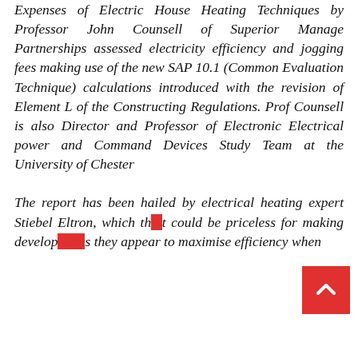Expenses of Electric House Heating Techniques by Professor John Counsell of Superior Manage Partnerships assessed electricity efficiency and jogging fees making use of the new SAP 10.1 (Common Evaluation Technique) calculations introduced with the revision of Element L of the Constructing Regulations. Prof Counsell is also Director and Professor of Electronic Electrical power and Command Devices Study Team at the University of Chester

The report has been hailed by electrical heating expert Stiebel Eltron, which that could be priceless for making developments they appear to maximise efficiency when